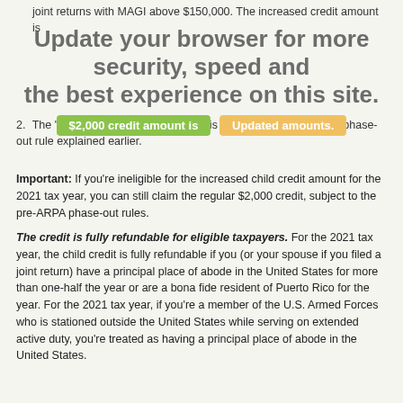joint returns with MAGI above $150,000. The increased credit amount is the applicable... of the applicable...
The "regular" $2,000 credit amount is subject to the pre-ARPA phase-out rule explained earlier.
Important: If you're ineligible for the increased child credit amount for the 2021 tax year, you can still claim the regular $2,000 credit, subject to the pre-ARPA phase-out rules.
The credit is fully refundable for eligible taxpayers. For the 2021 tax year, the child credit is fully refundable if you (or your spouse if you filed a joint return) have a principal place of abode in the United States for more than one-half the year or are a bona fide resident of Puerto Rico for the year. For the 2021 tax year, if you're a member of the U.S. Armed Forces who is stationed outside the United States while serving on extended active duty, you're treated as having a principal place of abode in the United States.
The MAGI phase-out rules explained earlier apply in determining your allowable fully refundable child credit for the 2021 tax year.
IRS will make advance payments, starting in July. Pursuant to another ARPA provision, the IRS is directed to establish a program to make monthly advance payments of the child credit (generally via direct deposits). Such advance payments will equal 50% of the IRS's estimate of the taxpayer's allowable credit